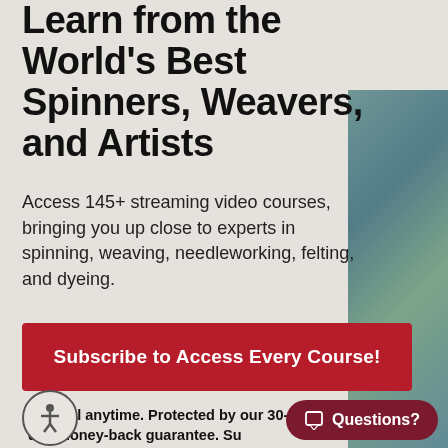Learn from the World's Best Spinners, Weavers, and Artists
Access 145+ streaming video courses, bringing you up close to experts in spinning, weaving, needleworking, felting, and dyeing.
Subscribe to Access Every Course!
*Cancel anytime. Protected by our 30-day money-back guarantee. Su...ludes unlimited access to every